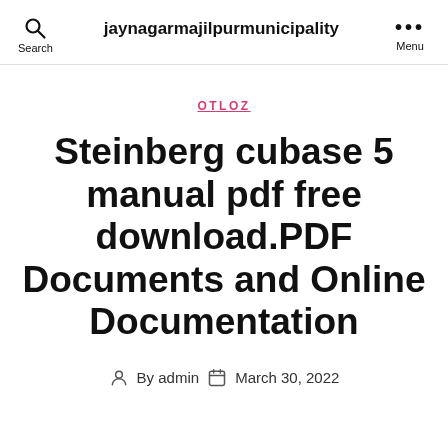jaynagarmajilpurmunicipality
OTLOZ
Steinberg cubase 5 manual pdf free download.PDF Documents and Online Documentation
By admin   March 30, 2022